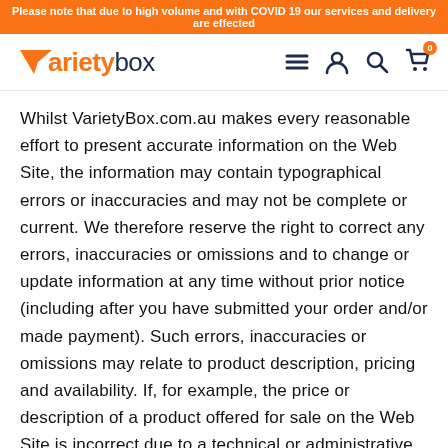Please note that due to high volume and with COVID 19 our services and delivery are effected
[Figure (logo): VarietyBox logo with orange V and dark blue text, plus navigation icons (hamburger menu, user, search, cart with 0 badge)]
Whilst VarietyBox.com.au makes every reasonable effort to present accurate information on the Web Site, the information may contain typographical errors or inaccuracies and may not be complete or current. We therefore reserve the right to correct any errors, inaccuracies or omissions and to change or update information at any time without prior notice (including after you have submitted your order and/or made payment). Such errors, inaccuracies or omissions may relate to product description, pricing and availability. If, for example, the price or description of a product offered for sale on the Web Site is incorrect due to a technical or administrative error, any agreement arising from any acceptance of such offer will, in VarietyBox.com.au's discretion, be void. We also reserve the right to limit